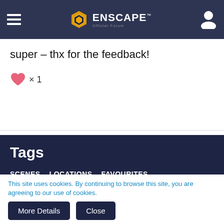ENSCAPE Official Forum
super - thx for the feedback!
[Figure (illustration): Pink heart like icon with x1 count]
Tags
SCENES
LOCATIONS
FAVOURITES
By using our website you accept that we use cookies to track usage and improve the relevancy of ads and may
This site uses cookies. By continuing to browse this site, you are agreeing to our use of cookies.
More Details  Close